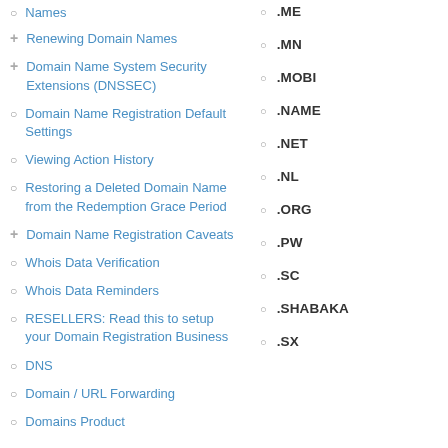Names
Renewing Domain Names
Domain Name System Security Extensions (DNSSEC)
Domain Name Registration Default Settings
Viewing Action History
Restoring a Deleted Domain Name from the Redemption Grace Period
Domain Name Registration Caveats
Whois Data Verification
Whois Data Reminders
RESELLERS: Read this to setup your Domain Registration Business
DNS
Domain / URL Forwarding
Domains Product
.ME
.MN
.MOBI
.NAME
.NET
.NL
.ORG
.PW
.SC
.SHABAKA
.SX